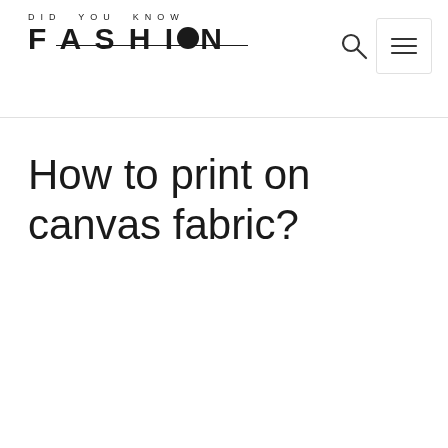[Figure (logo): Did You Know Fashion logo with stylized text. Top line reads 'DID YOU KNOW' in small spaced caps, bottom line reads 'FASHION' in large bold letters with the letter O replaced by a solid black oval/ellipse shape. Underline below the logo text.]
How to print on canvas fabric?